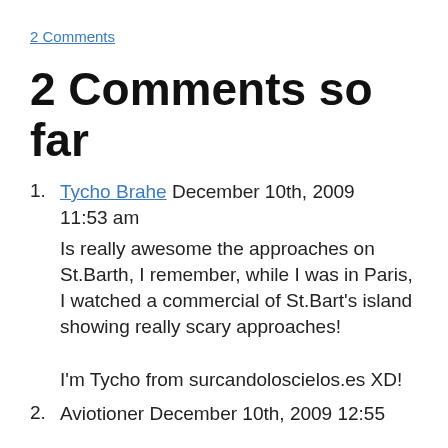2 Comments
2 Comments so far
Tycho Brahe December 10th, 2009 11:53 am
Is really awesome the approaches on St.Barth, I remember, while I was in Paris, I watched a commercial of St.Bart’s island showing really scary approaches!

I’m Tycho from surcandoloscielos.es XD!
Aviotioner December 10th, 2009 12:55